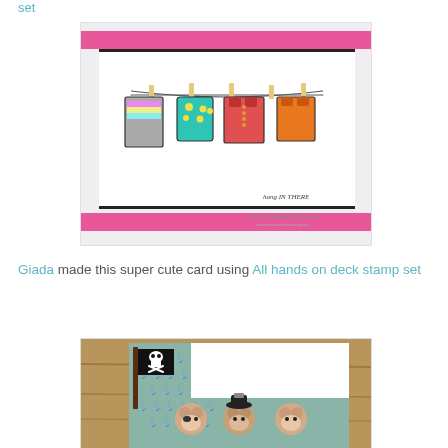set
[Figure (photo): Handmade greeting card showing colorful clothes (swimwear, shirts, shorts) hung on a clothesline with wooden pegs against a white background with pink and black horizontal stripe borders. Text reads 'hang IN THERE' and 'ELLENOR EMILSSON' at the bottom.]
Giada made this super cute card using All hands on deck stamp set
[Figure (photo): Handmade card featuring cartoon koala bears dressed as pirates with a pirate flag (skull and crossbones) on a teal anchor-patterned background.]